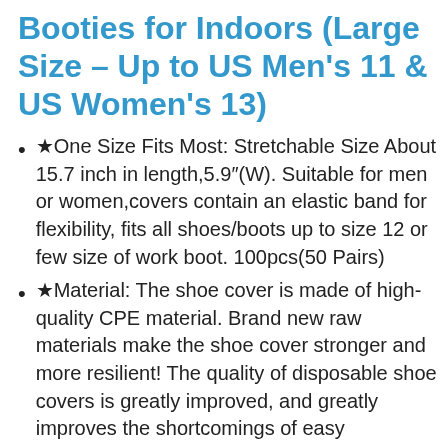Booties for Indoors (Large Size – Up to US Men's 11 & US Women's 13)
★One Size Fits Most: Stretchable Size About 15.7 inch in length,5.9″(W). Suitable for men or women,covers contain an elastic band for flexibility, fits all shoes/boots up to size 12 or few size of work boot. 100pcs(50 Pairs)
★Material: The shoe cover is made of high-quality CPE material. Brand new raw materials make the shoe cover stronger and more resilient! The quality of disposable shoe covers is greatly improved, and greatly improves the shortcomings of easy